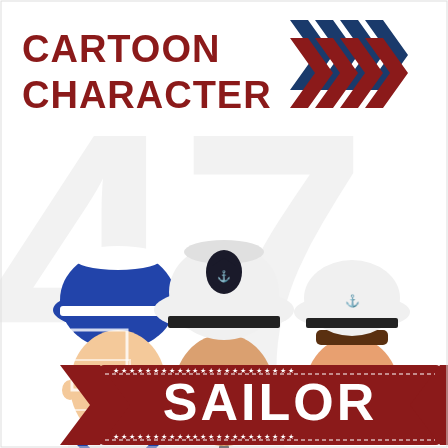[Figure (illustration): Cartoon character sailor illustration featuring three nautical figures: a male sailor in blue cap and white uniform with blue collar, a captain in white uniform with gold epaulettes, black tie, and brown mustache, and a female sailor in blue uniform with white cap. A large stylized number '47' watermark appears in the background. Top left has bold dark red text 'CARTOON CHARACTER', top right has blue and dark red chevron arrows. Bottom has a dark red ribbon banner with white bold text 'SAILOR' and dotted star border.]